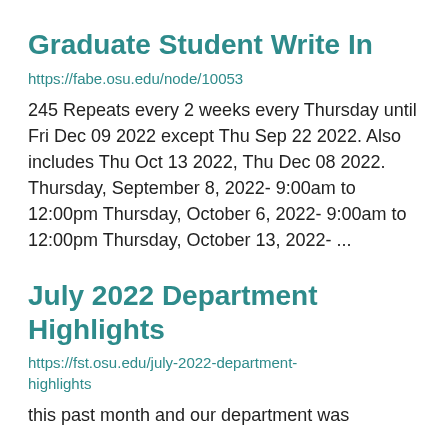Graduate Student Write In
https://fabe.osu.edu/node/10053
245 Repeats every 2 weeks every Thursday until Fri Dec 09 2022 except Thu Sep 22 2022. Also includes Thu Oct 13 2022, Thu Dec 08 2022. Thursday, September 8, 2022- 9:00am to 12:00pm Thursday, October 6, 2022- 9:00am to 12:00pm Thursday, October 13, 2022- ...
July 2022 Department Highlights
https://fst.osu.edu/july-2022-department-highlights
this past month and our department was